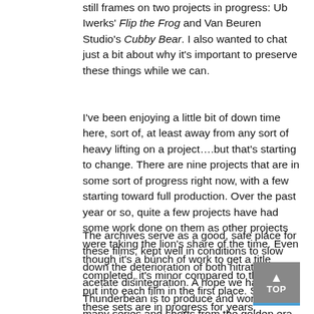still frames on two projects in progress: Ub Iwerks' Flip the Frog and Van Beuren Studio's Cubby Bear. I also wanted to chat just a bit about why it's important to preserve these things while we can.
I've been enjoying a little bit of down time here, sort of, at least away from any sort of heavy lifting on a project….but that's starting to change. There are nine projects that are in some sort of progress right now, with a few starting toward full production. Over the past year or so, quite a few projects have had some work done on them as other projects were taking the lion's share of the time. Even though it's a bunch of work to get a title completed, it's minor compared to the work put into each film in the first place. Some of these sets are in progress for years.
The archives serve as a good, safe place for these films, kept well in conditions to slow down the deterioration of both nitrate and acetate disintegration. A hope we have at Thunderbean is to produce and work on as many series and shorts from the golden era while as much of the original material still exists. I've seen films in my own collection starting to suffer from Vinegar Syndrome, and have even lost some, and have seen whole areas of some people's collections being unwatchable and unusable. That's what